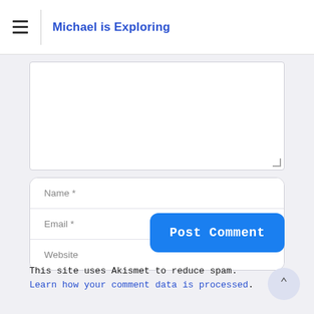Michael is Exploring
[Figure (screenshot): Comment textarea input field]
Name *
Email *
Website
Post Comment
This site uses Akismet to reduce spam. Learn how your comment data is processed.